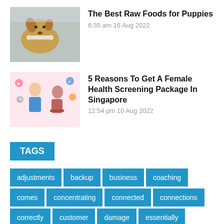[Figure (photo): Thumbnail image of a dog holding a raw bone in its mouth]
The Best Raw Foods for Puppies
6:35 am 16 Aug 2022
[Figure (illustration): Illustration of a doctor and patient in a medical consultation setting with health icons]
5 Reasons To Get A Female Health Screening Package In Singapore
12:54 pm 10 Aug 2022
TAGS
adjustments
backup
business
coaching
comes
concentrating
connected
connections
correctly
customer
damage
essentially
exists
Expect
extend
faster
focusing
Goodwill
greater
help
individual
inflammation
inside
intellectual
knowning
leave
levels
managing